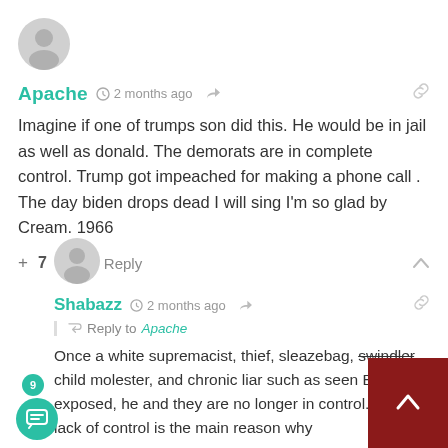[Figure (illustration): User avatar circle for Apache (gray silhouette)]
Apache  2 months ago
Imagine if one of trumps son did this. He would be in jail as well as donald. The demorats are in complete control. Trump got impeached for making a phone call . The day biden drops dead I will sing I'm so glad by Cream. 1966
+ 7 —  Reply
[Figure (illustration): User avatar circle for Shabazz (gray silhouette)]
Shabazz  2 months ago
Reply to  Apache
Once a white supremacist, thief, sleazebag, swindler, child molester, and chronic liar such as seen Biden is exposed, he and they are no longer in control. Their lack of control is the main reason why